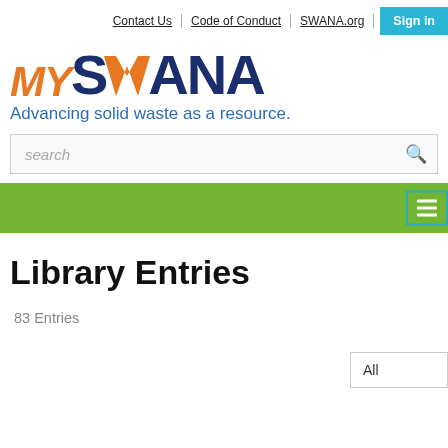Contact Us | Code of Conduct | SWANA.org | Sign in
[Figure (logo): mySWANA logo with orange MY text, dark blue SWANA lettering with orange triangle chevron marks, and blue tagline: Advancing solid waste as a resource.]
search
[Figure (screenshot): Green navigation bar with hamburger menu button (teal border, three white lines)]
Library Entries
83 Entries
All